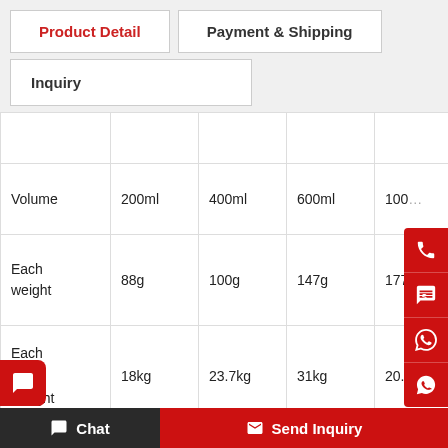Product Detail | Payment & Shipping
Inquiry
|  | 200ml | 400ml | 600ml | 100... |
| --- | --- | --- | --- | --- |
| Volume | 200ml | 400ml | 600ml | 100... |
| Each weight | 88g | 100g | 147g | 177... |
| Each Box Weight | 18kg | 23.7kg | 31kg | 20.6kg |
| Packing Quantity | 200pcs | 200pcs | 200pcs | 100pcs |